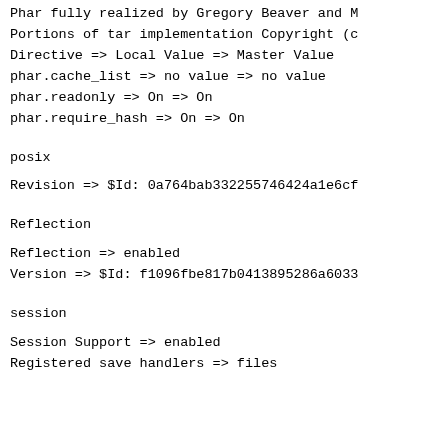Phar fully realized by Gregory Beaver and M
Portions of tar implementation Copyright (c
Directive => Local Value => Master Value
phar.cache_list => no value => no value
phar.readonly => On => On
phar.require_hash => On => On
posix
Revision => $Id: 0a764bab332255746424a1e6cf
Reflection
Reflection => enabled
Version => $Id: f1096fbe817b0413895286a6033
session
Session Support => enabled
Registered save handlers => files